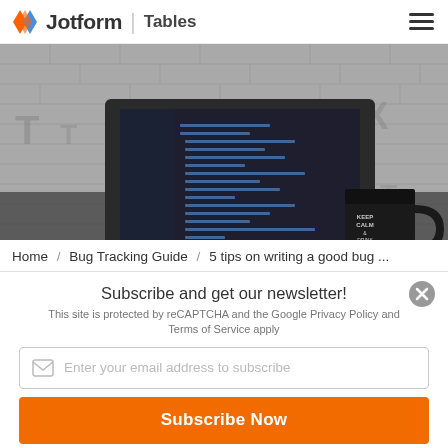Jotform | Tables
[Figure (photo): Black and white photo of a laptop showing code on screen, a 'Keep Calm and Drink Coffee' mug, a notebook and pen on a textured brick wall background.]
Home / Bug Tracking Guide / 5 tips on writing a good bug ...
Subscribe and get our newsletter!
This site is protected by reCAPTCHA and the Google Privacy Policy and Terms of Service apply
Enter your email address to subscribe
Subscribe Now